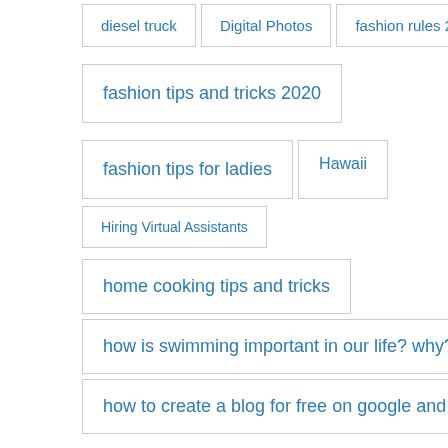diesel truck
Digital Photos
fashion rules 2020
fashion tips and tricks 2020
fashion tips for ladies
Hawaii
Hiring Virtual Assistants
home cooking tips and tricks
how is swimming important in our life? why?
how to create a blog for free on google and earn money
how to dress simple but stylish
how to earn money from blog
how to get traffic to my blog for free